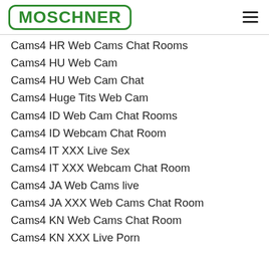MOSCHNER
Cams4 HR Web Cams Chat Rooms
Cams4 HU Web Cam
Cams4 HU Web Cam Chat
Cams4 Huge Tits Web Cam
Cams4 ID Web Cam Chat Rooms
Cams4 ID Webcam Chat Room
Cams4 IT XXX Live Sex
Cams4 IT XXX Webcam Chat Room
Cams4 JA Web Cams live
Cams4 JA XXX Web Cams Chat Room
Cams4 KN Web Cams Chat Room
Cams4 KN XXX Live Porn